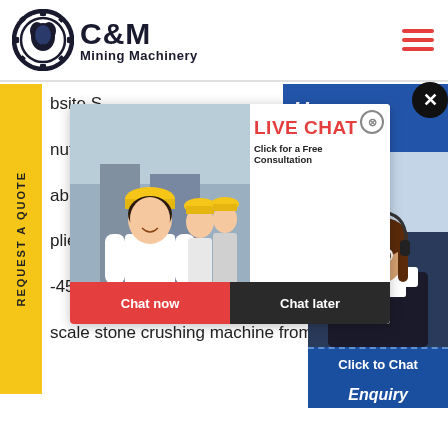[Figure (logo): C&M Mining Machinery logo with eagle/gear icon in dark blue]
[Figure (screenshot): Website screenshot showing C&M Mining Machinery page with live chat popup overlay featuring workers in yellow helmets, LIVE CHAT text in red, Chat now and Chat later buttons, and a female customer service agent on the right side]
bsite S
nufacture
able iron
plier of ball mills from chennai
-450tph aggregate crusher for sale
scale stone crushing machine from nig
Enquiry